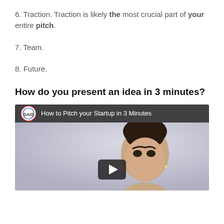6. Traction. Traction is likely the most crucial part of your entire pitch.
7. Team.
8. Future.
How do you present an idea in 3 minutes?
[Figure (screenshot): YouTube video thumbnail showing SAIS logo and title 'How to Pitch your Startup in 3 Minutes' with a woman's face and a play button.]